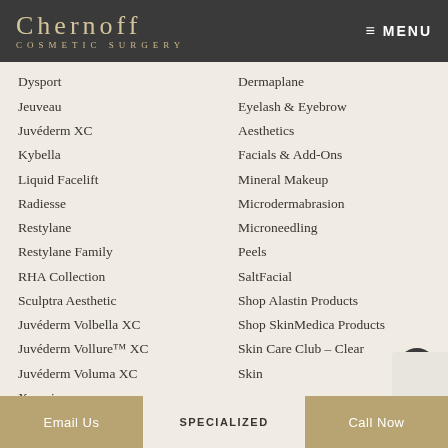CHERNOFF COSMETIC SURGERY — MENU
Dysport
Jeuveau
Juvéderm XC
Kybella
Liquid Facelift
Radiesse
Restylane
Restylane Family
RHA Collection
Sculptra Aesthetic
Juvéderm Volbella XC
Juvéderm Vollure™ XC
Juvéderm Voluma XC
Xeomin
Y LIFT Instant Facelift
Dermaplane
Eyelash & Eyebrow Aesthetics
Facials & Add-Ons
Mineral Makeup
Microdermabrasion
Microneedling
Peels
SaltFacial
Shop Alastin Products
Shop SkinMedica Products
Skin Care Club – Clear
Skin
Email Us    SPECIALIZED    Call Now